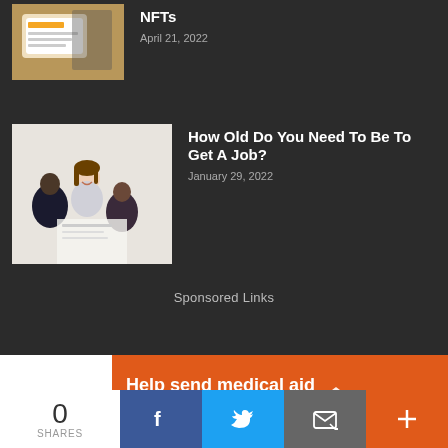[Figure (photo): Partially visible thumbnail of a smartphone showing labels/NFTs imagery on a wooden surface]
NFTs
April 21, 2022
[Figure (photo): Thumbnail of a job interview scene: a woman smiling across a desk from two people]
How Old Do You Need To Be To Get A Job?
January 29, 2022
Sponsored Links
[Figure (infographic): Orange ad banner: Help send medical aid to Ukraine >> with Direct Relief logo]
0
SHARES